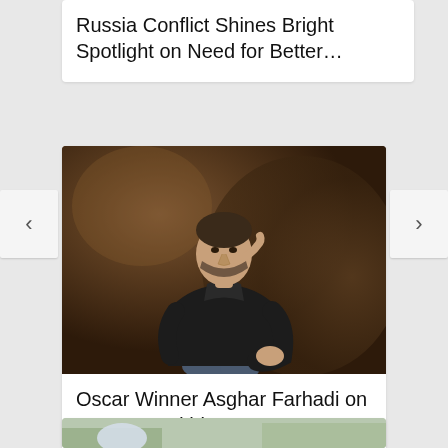Russia Conflict Shines Bright Spotlight on Need for Better...
[Figure (photo): Portrait photo of a middle-aged man with a beard, wearing a black turtleneck and dark blazer, seated and looking at camera against a dark brown textured background.]
Oscar Winner Asghar Farhadi on ‘A Hero’ and his...
[Figure (photo): Partially visible photo at the bottom of the page showing outdoor scene.]